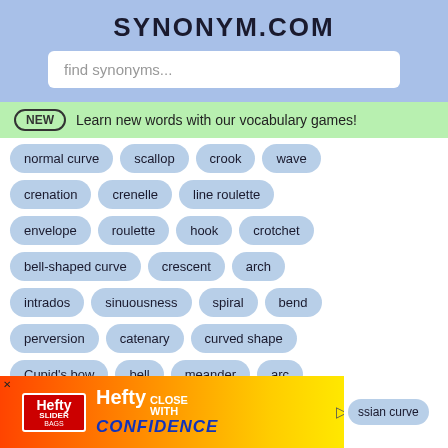SYNONYM.COM
find synonyms...
NEW  Learn new words with our vocabulary games!
normal curve
scallop
crook
wave
crenation
crenelle
line roulette
envelope
roulette
hook
crotchet
bell-shaped curve
crescent
arch
intrados
sinuousness
spiral
bend
perversion
catenary
curved shape
Cupid's bow
bell
meander
arc
ssian curve
[Figure (screenshot): Hefty Slider Bags advertisement banner at bottom of page]